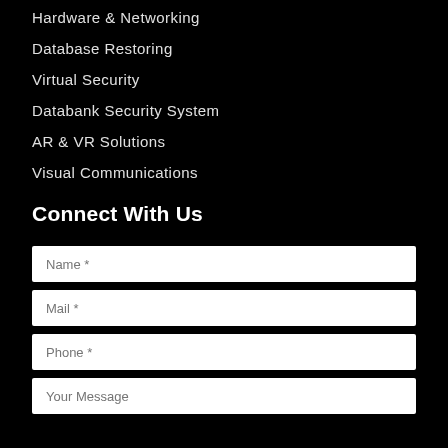Hardware & Networking
Database Restoring
Virtual Security
Databank Security System
AR & VR Solutions
Visual Communications
Connect With Us
Name *
Mail *
Phone *
Your Message